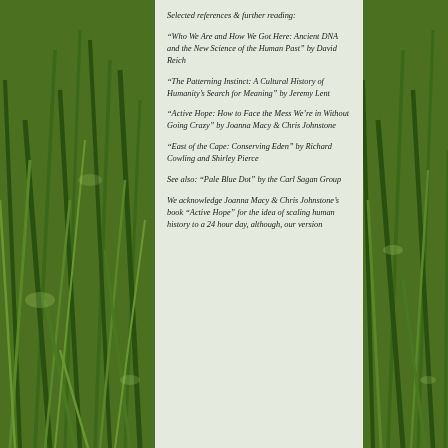Selected references & further reading:
“Who We Are and How We Got Here: Ancient DNA and the New Science of the Human Past” by David Reich
“The Patterning Instinct: A Cultural History of Humanity’s Search for Meaning” by Jeremy Lent
“Active Hope: How to Face the Mess We’re in Without Going Crazy” by Joanna Macy & Chris Johnstone
“East of the Cape: Conserving Eden” by Richard Cowling and Shirley Pierce
See also: “Pale Blue Dot” by the Carl Sagan Group
We acknowledge Joanna Macy & Chris Johnstone’s book “Active Hope” for the idea of scaling human history to a 24 hour day, although, our version